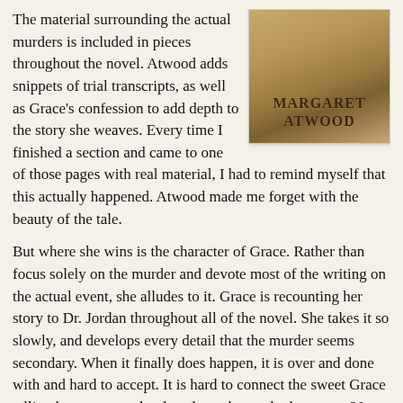The material surrounding the actual murders is included in pieces throughout the novel. Atwood adds snippets of trial transcripts, as well as Grace's confession to add depth to the story she weaves. Every time I finished a section and came to one of those pages with real material, I had to remind myself that this actually happened. Atwood made me forget with the beauty of the tale.
[Figure (illustration): Book cover showing Margaret Atwood's name in bold serif text against a warm brown/tan painted background]
But where she wins is the character of Grace. Rather than focus solely on the murder and devote most of the writing on the actual event, she alludes to it. Grace is recounting her story to Dr. Jordan throughout all of the novel. She takes it so slowly, and develops every detail that the murder seems secondary. When it finally does happen, it is over and done with and hard to accept. It is hard to connect the sweet Grace telling her story to a hardened murderer who has spent 20 years in prison.